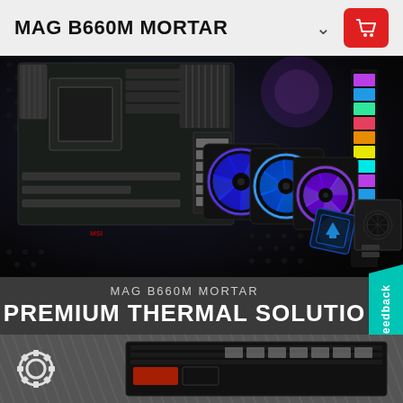MAG B660M MORTAR
[Figure (photo): MSI MAG B660M MORTAR motherboard product hero image showing the motherboard, RGB cooling fans with blue/purple lighting, MSI liquid cooler pump head, and a power supply unit against a dark background with RGB strip lighting on the right side]
MAG B660M MORTAR PREMIUM THERMAL SOLUTION
[Figure (photo): Bottom section showing partial view of an MSI motherboard with a gear/settings icon on the left and diagonal line pattern background in dark grey]